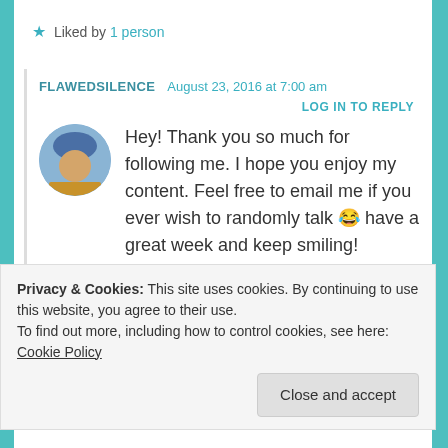★ Liked by 1 person
FLAWEDSILENCE  August 23, 2016 at 7:00 am
LOG IN TO REPLY
[Figure (photo): Circular avatar photo of a person wearing a blue hat and yellow clothing]
Hey! Thank you so much for following me. I hope you enjoy my content. Feel free to email me if you ever wish to randomly talk 😂 have a great week and keep smiling!
Privacy & Cookies: This site uses cookies. By continuing to use this website, you agree to their use.
To find out more, including how to control cookies, see here: Cookie Policy
Close and accept